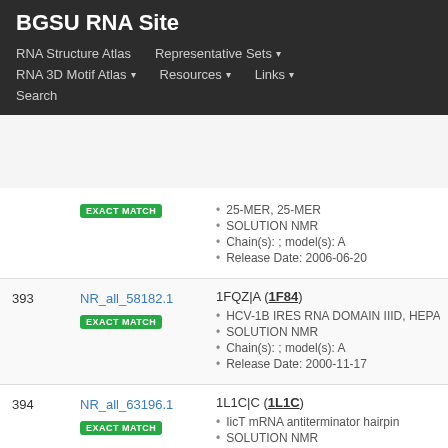BGSU RNA Site
RNA Structure Atlas | Representative Sets ▾ | RNA 3D Motif Atlas ▾ | Resources ▾ | Links ▾ | Search
| # | Representative | PDB Entry |
| --- | --- | --- |
|  | EXACT MATCH | 25-MER, 25-MER
SOLUTION NMR
Chain(s): ; model(s): A
Release Date: 2006-06-20 |
| 393 | NR_all_58182.1
EXACT MATCH | 1FQZ|A (1F84)
HCV-1B IRES RNA DOMAIN IIID, HEPAT...
SOLUTION NMR
Chain(s): ; model(s): A
Release Date: 2000-11-17 |
| 394 | NR_all_63196.1
EXACT MATCH | 1L1C|C (1L1C)
IicT mRNA antiterminator hairpin
SOLUTION NMR
Chain(s): ; model(s): C
Release Date: 2002-02-27 |